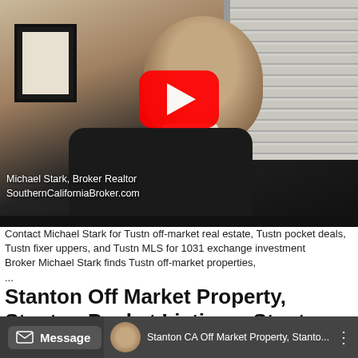[Figure (screenshot): Video thumbnail screenshot showing a man (Michael Stark, Broker Realtor, SouthernCaliforniaBroker.com) with a YouTube play button overlay. Text overlay reads: Michael Stark, Broker Realtor / SouthernCaliforniaBroker.com]
Contact Michael Stark for Tustn off-market real estate, Tustn pocket deals, Tustn fixer uppers, and Tustn MLS for 1031 exchange investment
Broker Michael Stark finds Tustn off-market properties,
...
Stanton Off Market Property, Stanton Pocket Listings, Stanton MLS For 1031 Exchange Reinvestment
Message
Stanton CA Off Market Property, Stanto...